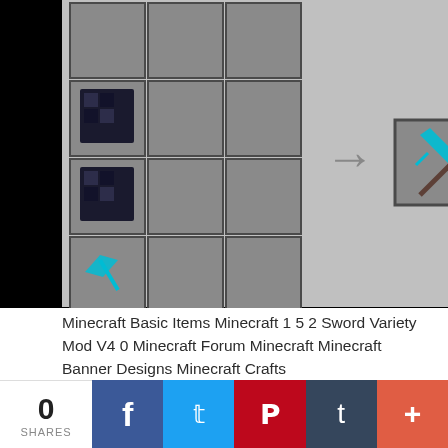[Figure (screenshot): Minecraft crafting recipe screenshot showing obsidian blocks in a crafting grid with an arrow pointing to a diamond sword result, with a '60' counter badge in top right. Black background on right half.]
Minecraft Basic Items Minecraft 1 5 2 Sword Variety Mod V4 0 Minecraft Forum Minecraft Minecraft Banner Designs Minecraft Crafts
[Figure (screenshot): Minecraft crafting recipes grid showing multiple crafting recipes including: Glass w/ Water, Bread Stick, Soap, Soapy Water, Block o Cheese, Rice Seeds, Flour, Bread Dough, Checker Floor, L Cupboard, M Cupboard, S Cupboard]
0 SHARES  [Facebook] [Twitter] [Pinterest] [Tumblr] [+]